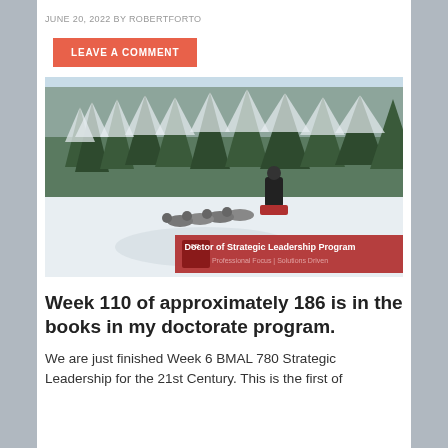JUNE 20, 2022 BY ROBERTFORTO
LEAVE A COMMENT
[Figure (photo): Dog sled team racing through a snowy forest trail, with a musher on the sled. A red banner overlay at the bottom reads 'Doctor of Strategic Leadership Program — Professional Focus | Solutions Driven']
Week 110 of approximately 186 is in the books in my doctorate program.
We are just finished Week 6 BMAL 780 Strategic Leadership for the 21st Century. This is the first of